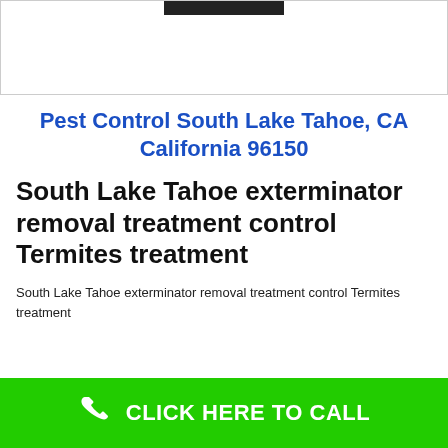[Figure (other): Top image area with black bar/logo placeholder in a bordered box]
Pest Control South Lake Tahoe, CA California 96150
South Lake Tahoe exterminator removal treatment control Termites treatment
South Lake Tahoe exterminator removal treatment control Termites treatment
[Figure (other): Green call-to-action banner with phone icon and text CLICK HERE TO CALL]